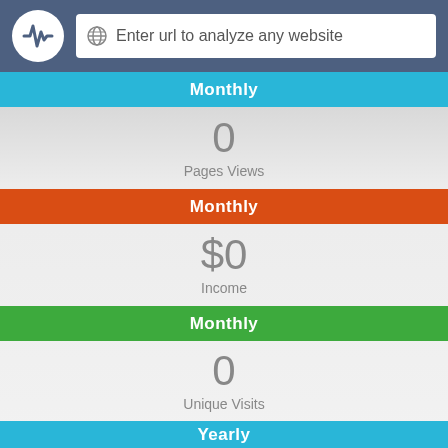[Figure (screenshot): App header with logo circle containing a waveform icon and a URL input bar with globe icon reading 'Enter url to analyze any website' on a dark blue-grey background]
Monthly
0
Pages Views
Monthly
$0
Income
Monthly
0
Unique Visits
Yearly